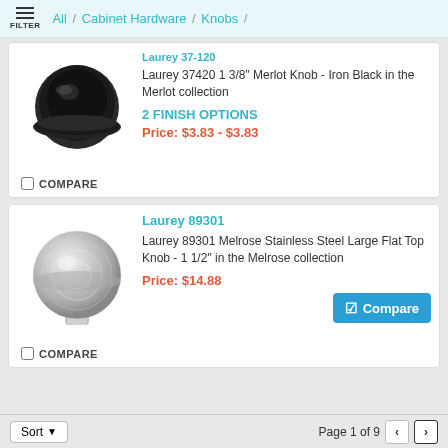All / Cabinet Hardware / Knobs /
[Figure (photo): Dark iron black round cabinet knob - Laurey 37420 Merlot collection]
Laurey 37420 1 3/8" Merlot Knob - Iron Black in the Merlot collection
2 FINISH OPTIONS
Price: $3.83 - $3.83
COMPARE
[Figure (photo): Stainless steel large flat top cabinet knob - Laurey 89301 Melrose collection]
Laurey 89301
Laurey 89301 Melrose Stainless Steel Large Flat Top Knob - 1 1/2" in the Melrose collection
Price: $14.88
Compare
COMPARE
Sort   Page 1 of 9